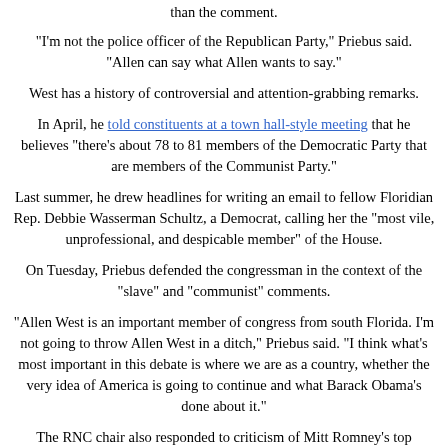than the comment.
"I'm not the police officer of the Republican Party," Priebus said. "Allen can say what Allen wants to say."
West has a history of controversial and attention-grabbing remarks.
In April, he told constituents at a town hall-style meeting that he believes "there's about 78 to 81 members of the Democratic Party that are members of the Communist Party."
Last summer, he drew headlines for writing an email to fellow Floridian Rep. Debbie Wasserman Schultz, a Democrat, calling her the "most vile, unprofessional, and despicable member" of the House.
On Tuesday, Priebus defended the congressman in the context of the "slave" and "communist" comments.
"Allen West is an important member of congress from south Florida. I'm not going to throw Allen West in a ditch," Priebus said. "I think what's most important in this debate is where we are as a country, whether the very idea of America is going to continue and what Barack Obama's done about it."
The RNC chair also responded to criticism of Mitt Romney's top